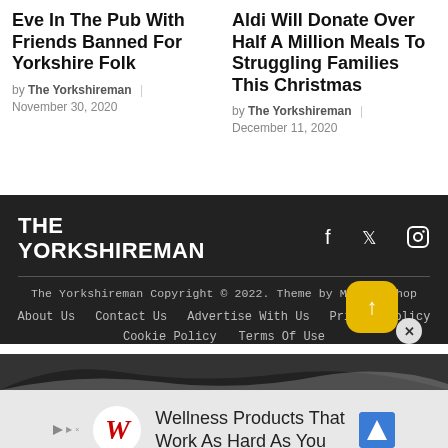Eve In The Pub With Friends Banned For Yorkshire Folk
by The Yorkshireman | November 30, 2020
Aldi Will Donate Over Half A Million Meals To Struggling Families This Christmas
by The Yorkshireman | December 11, 2020
THE YORKSHIREMAN
The Yorkshireman Copyright © 2022. Theme by MyThemeShop
About Us   Contact Us   Advertise With Us   Privacy Policy   Cookie Policy   Terms Of Use
[Figure (other): Advertisement banner: Walgreens Wellness Products That Work As Hard As You]